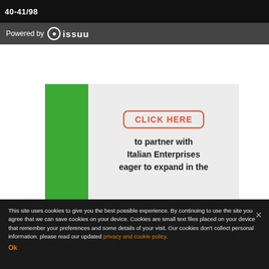40-41/98
Powered by issuu
[Figure (illustration): Advertisement block with green sidebar and text 'CLICK HERE to partner with Italian Enterprises eager to expand in the']
This site uses cookies to give you the best possible experience. By continuing to use the site you agree that we can save cookies on your device. Cookies are small text files placed on your device that remember your preferences and some details of your visit. Our cookies don't collect personal information. please read our updated privacy and cookie policy.
Ok